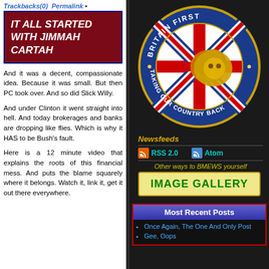Trackbacks(0)  Permalink •
IT ALL STARTED WITH JIMMAH CARTAH
And it was a decent, compassionate idea. Because it was small. But then PC took over. And so did Slick Willy.
And under Clinton it went straight into hell. And today brokerages and banks are dropping like flies. Which is why it HAS to be Bush's fault.
Here is a 12 minute video that explains the roots of this financial mess. And puts the blame squarely where it belongs. Watch it, link it, get it out there everywhere.
[Figure (logo): Britain First circular logo with Union Jack flag and golden lion, text reading BRITAIN FIRST TAKING OUR COUNTRY BACK on blue background]
Newsfeeds
RSS 2.0  Atom
Other ways to BMEWS yourself
[Figure (other): IMAGE GALLERY button with green text on yellow background]
Most Recent Posts
Once Again, The One And Only Post
Gee, Oops